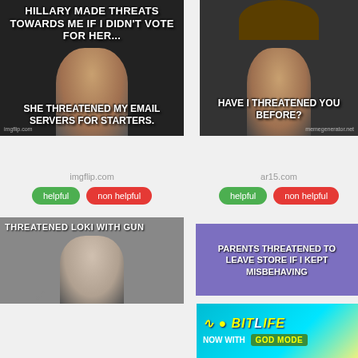[Figure (illustration): Meme image: Leonardo DiCaprio pointing with text 'HILLARY MADE THREATS TOWARDS ME IF I DIDN'T VOTE FOR HER... SHE THREATENED MY EMAIL SERVERS FOR STARTERS.' Source: imgflip.com]
[Figure (illustration): Meme image: Jack Sparrow (Pirates of the Caribbean) with text 'HAVE I THREATENED YOU BEFORE?' Source: ar15.com]
imgflip.com
ar15.com
helpful
non helpful
helpful
non helpful
[Figure (illustration): Meme image: Bald man with earpiece, text 'THREATENED LOKI WITH GUN']
[Figure (illustration): Meme image: Purple/blue background text 'PARENTS THREATENED TO LEAVE STORE IF I KEPT MISBEHAVING']
[Figure (illustration): Advertisement banner: BitLife 'NOW WITH GOD MODE']